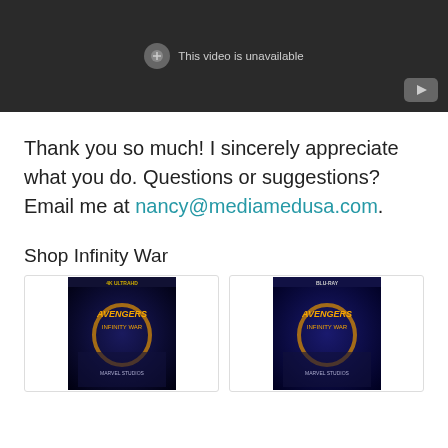[Figure (screenshot): YouTube video embed showing 'This video is unavailable' message on dark background with YouTube play button icon in bottom right corner]
Thank you so much! I sincerely appreciate what you do. Questions or suggestions? Email me at nancy@mediamedusa.com.
Shop Infinity War
[Figure (photo): Avengers Infinity War 4K Ultra HD Blu-ray product cover image]
[Figure (photo): Avengers Infinity War Blu-ray product cover image]